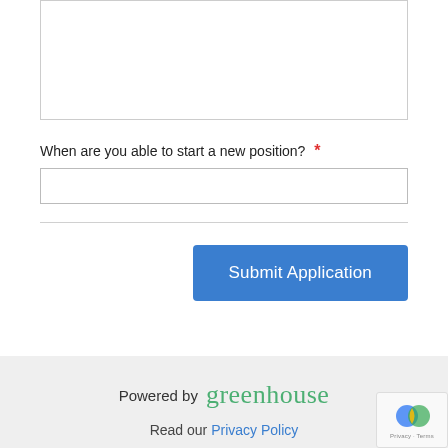[Figure (screenshot): A large textarea input box (form field) with a resize handle in the bottom right corner. The box is bordered with a light gray border on a white background.]
When are you able to start a new position? *
[Figure (screenshot): A single-line text input field, bordered with light gray, white background.]
[Figure (screenshot): A 'Submit Application' button in blue (#3a7ecf) with white text.]
Powered by greenhouse   Read our Privacy Policy